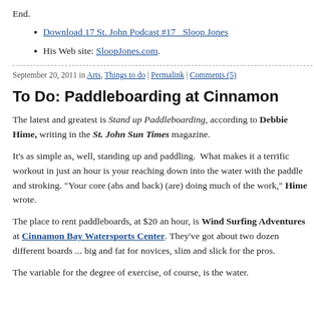End.
Download 17 St. John Podcast #17_ Sloop Jones
His Web site: SloopJones.com.
September 20, 2011 in Arts, Things to do | Permalink | Comments (5)
To Do: Paddleboarding at Cinnamon
The latest and greatest is Stand up Paddleboarding, according to Debbie Hime, writing in the St. John Sun Times magazine.
It's as simple as, well, standing up and paddling.  What makes it a terrific workout in just an hour is your reaching down into the water with the paddle and stroking. "Your core (abs and back) (are) doing much of the work," Hime wrote.
The place to rent paddleboards, at $20 an hour, is Wind Surfing Adventures at Cinnamon Bay Watersports Center. They've got about two dozen different boards ... big and fat for novices, slim and slick for the pros.
The variable for the degree of exercise, of course, is the water.